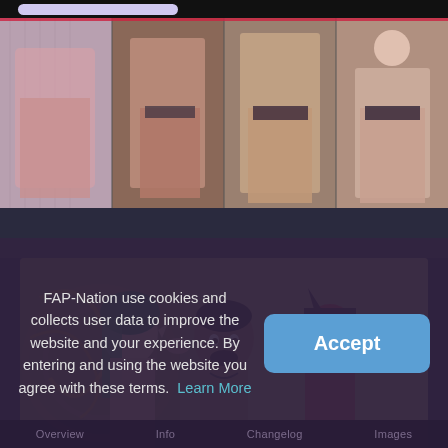[Figure (screenshot): Top navigation bar with search input field on dark background]
[Figure (photo): Banner strip showing four anime/3D-rendered illustrations side by side]
[Figure (illustration): 3D-rendered scene showing three anime characters - one with green hair on left, a man in center, and a red/dark character on right, in front of decorative background]
FAP-Nation use cookies and collects user data to improve the website and your experience. By entering and using the website you agree with these terms. Learn More
Overview   Info   Changelog   Images